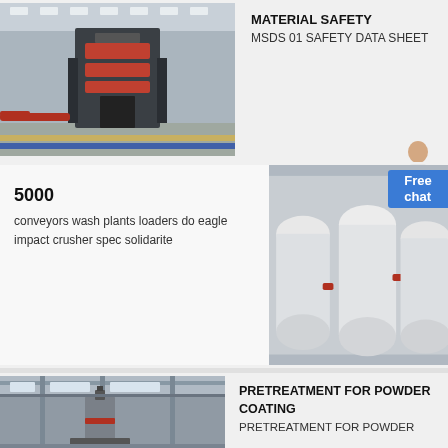[Figure (photo): Industrial factory floor with large heavy machinery, steel press or crusher equipment, overhead lighting in warehouse setting]
MATERIAL SAFETY
MSDS 01 SAFETY DATA SHEET
[Figure (photo): Avatar/illustration of a person (woman) in business attire pointing]
5000
conveyors wash plants loaders do eagle impact crusher spec solidarite
[Figure (photo): Industrial equipment - large white cylindrical grinding mill machines in a row inside a factory]
[Figure (photo): Factory interior with industrial machinery, vertical mill or grinding equipment, overhead crane visible]
PRETREATMENT FOR POWDER COATING
PRETREATMENT FOR POWDER